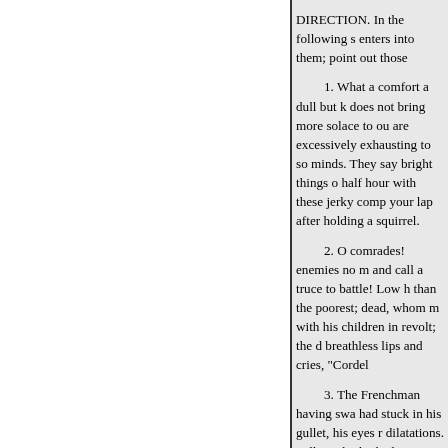DIRECTION. In the following s enters into them; point out those
1. What a comfort a dull but k does not bring more solace to ou are excessively exhausting to so minds. They say bright things o half hour with these jerky comp your lap after holding a squirrel.
2. O comrades! enemies no m and call a truce to battle! Low h than the poorest; dead, whom m with his children in revolt; the d breathless lips and cries, "Cordel
3. The Frenchman having swa had stuck in his gullet, his eyes r dilatations. Pallet, who looked s himself would venture upon the concern, that the poor gentleman symptoms of ecstasy, and, for fu